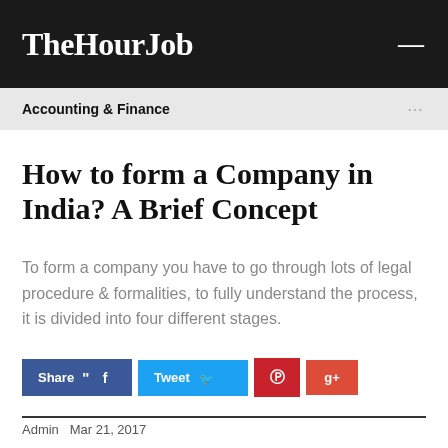TheHourJob
Accounting & Finance
How to form a Company in India? A Brief Concept
To form a company you have to go through lots of legal procedure & formalities, to fully understand the process, it is divided into four different stages.
Share  Tweet  Pinterest  Google+
Admin  Mar 21, 2017